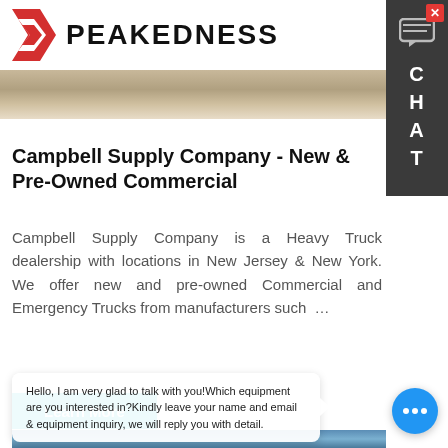PEAKEDNESS
[Figure (photo): Top strip showing a dusty/sandy outdoor ground scene, partially visible]
Campbell Supply Company - New & Pre-Owned Commercial
Campbell Supply Company is a Heavy Truck dealership with locations in New Jersey & New York. We offer new and pre-owned Commercial and Emergency Trucks from manufacturers such …
Learn More
[Figure (photo): Industrial silos / storage tanks against a blue sky]
Hello, I am very glad to talk with you!Which equipment are you interested in?Kindly leave your name and email & equipment inquiry, we will reply you with detail.